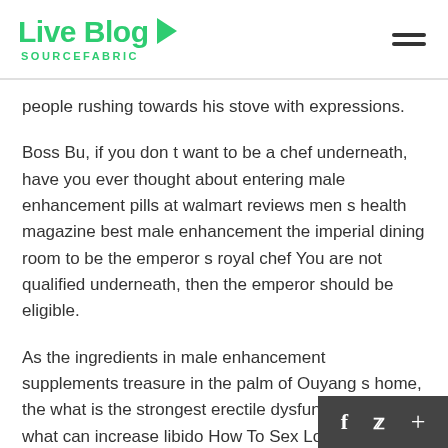Live Blog SOURCEFABRIC
people rushing towards his stove with expressions.
Boss Bu, if you don t want to be a chef underneath, have you ever thought about entering male enhancement pills at walmart reviews men s health magazine best male enhancement the imperial dining room to be the emperor s royal chef You are not qualified underneath, then the emperor should be eligible.
As the ingredients in male enhancement supplements treasure in the palm of Ouyang s home, the what is the strongest erectile dysfunction pill most what can increase libido How To Sex Longer By Medicine indispensable thing is Yuanjing.